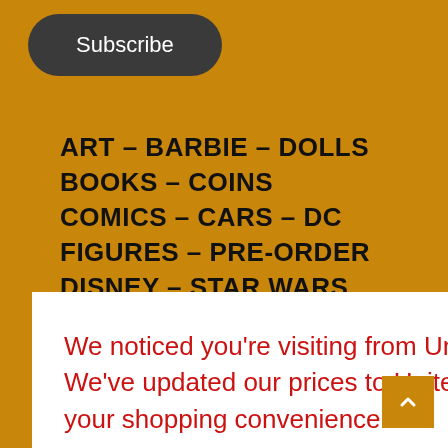Subscribe
ART – BARBIE – DOLLS
BOOKS – COINS
COMICS – CARS – DC
FIGURES – PRE-ORDER
DISNEY – STAR WARS
LOUNGEFLY – MARVEL
We noticed you're visiting from United States (US). We've updated our prices to United States (US) dollar for your shopping convenience.
FUNKO POPS (partially visible)
VIDEO GAMES